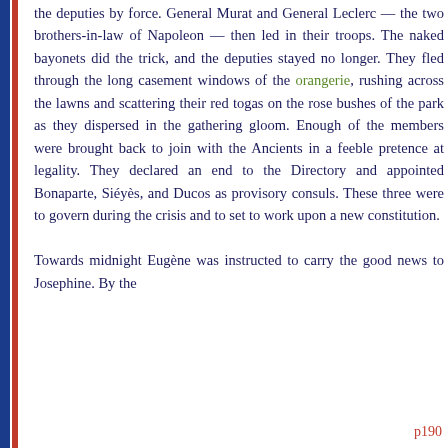the deputies by force. General Murat and General Leclerc — the two brothers-in-law of Napoleon — then led in their troops. The naked bayonets did the trick, and the deputies stayed no longer. They fled through the long casement windows of the orangerie, rushing across the lawns and scattering their red togas on the rose bushes of the park as they dispersed in the gathering gloom. Enough of the members were brought back to join with the Ancients in a feeble pretence at legality. They declared an end to the Directory and appointed Bonaparte, Siéyès, and Ducos as provisory consuls. These three were to govern during the crisis and to set to work upon a new constitution.

Towards midnight Eugène was instructed to carry the good news to Josephine. By the
p190